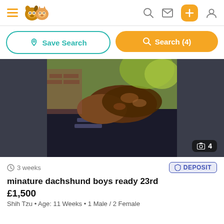Pets4Homes app header with hamburger menu, logo, search, message, add, and profile icons
Save Search
Search (4)
[Figure (photo): Photo of miniature dachshund puppies lying on a dark blanket, photographed outdoors with foliage in the background. Photo count badge shows 4.]
3 weeks
DEPOSIT
minature dachshund boys ready 23rd
£1,500
Shih Tzu • Age: 11 Weeks • 1 Male / 2 Female